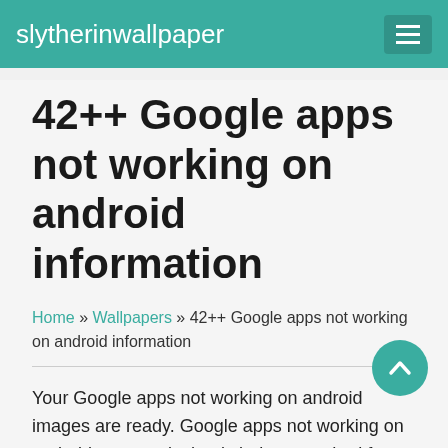slytherinwallpaper
42++ Google apps not working on android information
Home » Wallpapers » 42++ Google apps not working on android information
Your Google apps not working on android images are ready. Google apps not working on android are a topic that is being searched for and liked by netizens today. You can Find and Download the Google apps not working on android files here. Download all royalty-free photos.
If you're searching for google apps not working on android images information related to the google apps